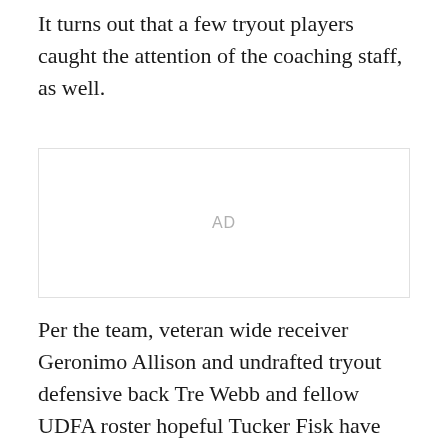It turns out that a few tryout players caught the attention of the coaching staff, as well.
[Figure (other): Advertisement placeholder box with 'AD' label centered]
Per the team, veteran wide receiver Geronimo Allison and undrafted tryout defensive back Tre Webb and fellow UDFA roster hopeful Tucker Fisk have been signed to the roster. In corresponding moves, the team